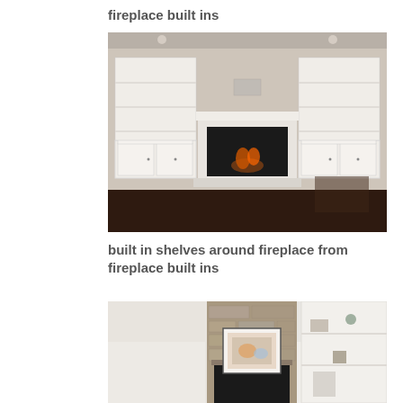fireplace built ins
[Figure (photo): Interior room photo showing a white built-in bookcase and cabinet unit flanking a central fireplace with dark hardwood floors and beige walls.]
built in shelves around fireplace from fireplace built ins
[Figure (photo): Interior room photo showing a stone fireplace with a framed artwork on the mantle, a ceiling fan, and white built-in shelves on the right side.]